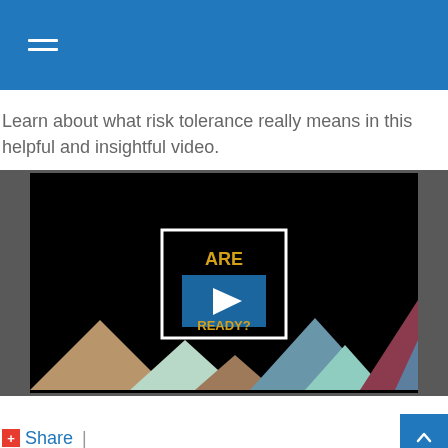Learn about what risk tolerance really means in this helpful and insightful video.
[Figure (screenshot): Video thumbnail showing 'ARE YOU READY?' text on a black background with colorful mountain silhouettes at the bottom and a play button overlay.]
Share |